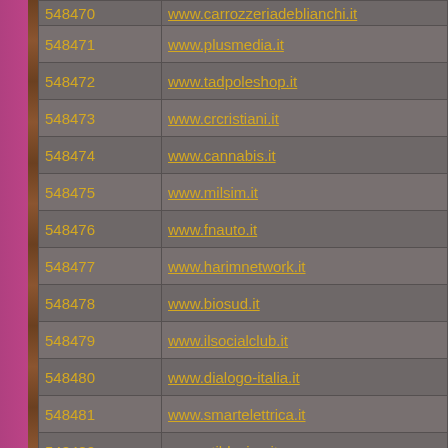| ID | URL |
| --- | --- |
| 548470 | www.carrozzeriadeblianchi.it |
| 548471 | www.plusmedia.it |
| 548472 | www.tadpoleshop.it |
| 548473 | www.crcristiani.it |
| 548474 | www.cannabis.it |
| 548475 | www.milsim.it |
| 548476 | www.fnauto.it |
| 548477 | www.harimnetwork.it |
| 548478 | www.biosud.it |
| 548479 | www.ilsocialclub.it |
| 548480 | www.dialogo-italia.it |
| 548481 | www.smartelettrica.it |
| 548482 | www.stildesign.it |
| 548483 | www.abckids.it |
| 548484 | www.genteannunci.it |
| 548485 | www.mailpost.it |